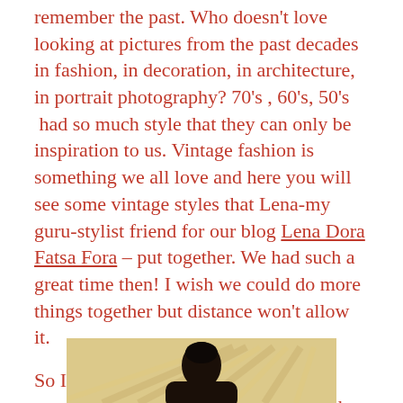remember the past. Who doesn't love looking at pictures from the past decades in fashion, in decoration, in architecture, in portrait photography? 70's , 60's, 50's  had so much style that they can only be inspiration to us. Vintage fashion is something we all love and here you will see some vintage styles that Lena-my guru-stylist friend for our blog Lena Dora Fatsa Fora – put together. We had such a great time then! I wish we could do more things together but distance won't allow it.
So I share these photos with you and remember.. they are not just pictures, they included the concept of time and are ones that I will always remember with a smile on my face and in my heart.
[Figure (photo): Partial view of a person in vintage style clothing, photographed indoors with decorative background]